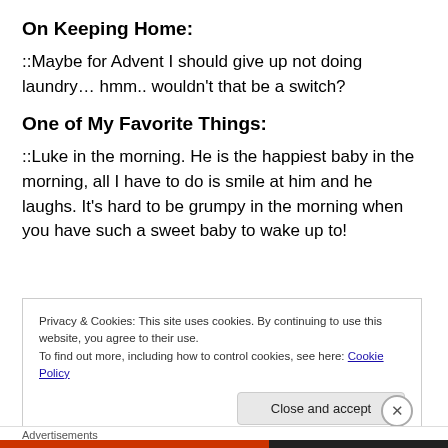On Keeping Home:
::Maybe for Advent I should give up not doing laundry… hmm.. wouldn't that be a switch?
One of My Favorite Things:
::Luke in the morning. He is the happiest baby in the morning, all I have to do is smile at him and he laughs. It's hard to be grumpy in the morning when you have such a sweet baby to wake up to!
Privacy & Cookies: This site uses cookies. By continuing to use this website, you agree to their use. To find out more, including how to control cookies, see here: Cookie Policy
Close and accept
Advertisements